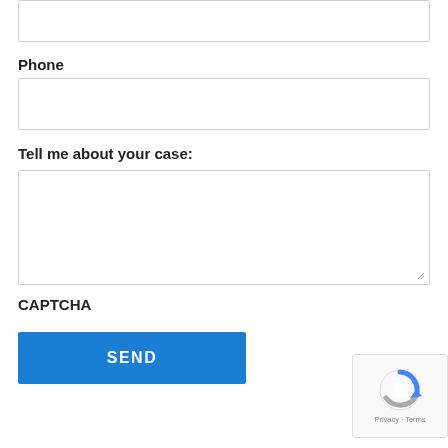[Figure (other): Top portion of a form input field (partially visible at top of page)]
Phone
[Figure (other): Phone input text field (empty)]
Tell me about your case:
[Figure (other): Tell me about your case textarea (empty, resizable)]
CAPTCHA
[Figure (other): SEND button (blue)]
[Figure (other): reCAPTCHA widget with Google logo and Privacy - Terms text]